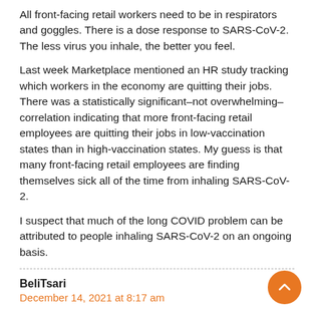All front-facing retail workers need to be in respirators and goggles. There is a dose response to SARS-CoV-2. The less virus you inhale, the better you feel.
Last week Marketplace mentioned an HR study tracking which workers in the economy are quitting their jobs. There was a statistically significant–not overwhelming–correlation indicating that more front-facing retail employees are quitting their jobs in low-vaccination states than in high-vaccination states. My guess is that many front-facing retail employees are finding themselves sick all of the time from inhaling SARS-CoV-2.
I suspect that much of the long COVID problem can be attributed to people inhaling SARS-CoV-2 on an ongoing basis.
BeliTsari
December 14, 2021 at 8:17 am
We'd believed that as well? We'd sorta managed to reduce viral load, despite HUNDREDS of maskless, desperate sluggo mouth-breathers, kvetching into iPhones at 98dB, nose to tail. Or, app-shoppers, all crazy to fi… particular yuppie All Natural, Gluten FREE, Reduced Cruelty fetish in friggin Fairway, compelled to cough &